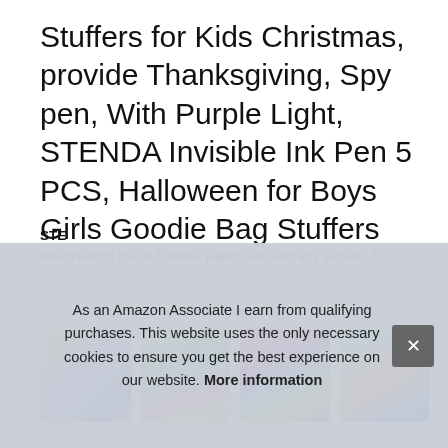Stuffers for Kids Christmas, provide Thanksgiving, Spy pen, With Purple Light, STENDA Invisible Ink Pen 5 PCS, Halloween for Boys Girls Goodie Bag Stuffers
#ad
[Figure (photo): Four thumbnail images of colorful invisible ink pens]
As an Amazon Associate I earn from qualifying purchases. This website uses the only necessary cookies to ensure you get the best experience on our website. More information
STE
disappearing ink on T-shirts, paper, skin and any surface. T..